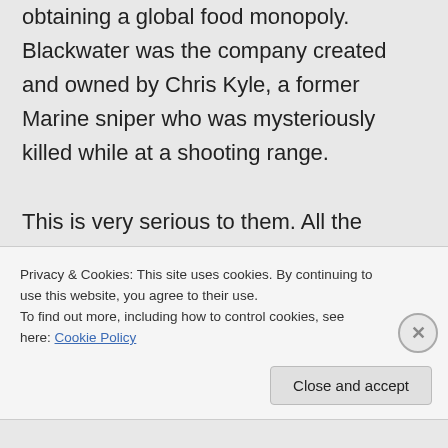obtaining a global food monopoly. Blackwater was the company created and owned by Chris Kyle, a former Marine sniper who was mysteriously killed while at a shooting range.

This is very serious to them. All the money on the planet will never be enough. I've made up my mind to starve them as they've starved the rest of the world. It's unlikely that the situation in government will change
Privacy & Cookies: This site uses cookies. By continuing to use this website, you agree to their use.
To find out more, including how to control cookies, see here: Cookie Policy